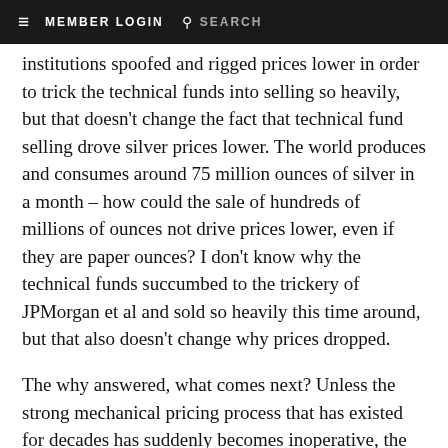≡  MEMBER LOGIN  🔍  SEARCH
institutions spoofed and rigged prices lower in order to trick the technical funds into selling so heavily, but that doesn't change the fact that technical fund selling drove silver prices lower. The world produces and consumes around 75 million ounces of silver in a month – how could the sale of hundreds of millions of ounces not drive prices lower, even if they are paper ounces? I don't know why the technical funds succumbed to the trickery of JPMorgan et al and sold so heavily this time around, but that also doesn't change why prices dropped.
The why answered, what comes next? Unless the strong mechanical pricing process that has existed for decades has suddenly becomes inoperative, the sharp silver price drop should lead to an even stronger price rally – perhaps even the